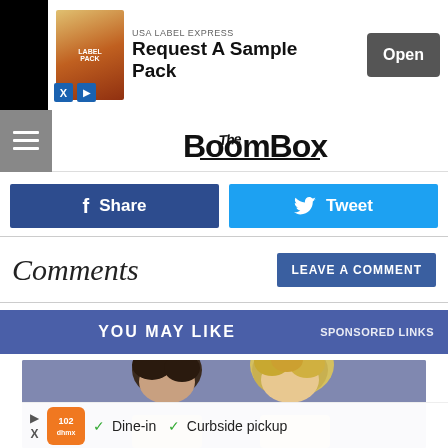[Figure (screenshot): Advertisement banner: USA LABEL EXPRESS - Request A Sample Pack - Open button]
The Boombox (logo/navigation bar)
Share
Tweet
Comments
LEAVE A COMMENT
YOU MAY LIKE    SPONSORED LINKS
[Figure (photo): Photo of two people: a person with dark hair and a person with curly blonde hair, against a blue-grey background]
[Figure (screenshot): Advertisement: restaurant ad with orange logo, checkmarks for Dine-in and Curbside pickup, blue arrow button]